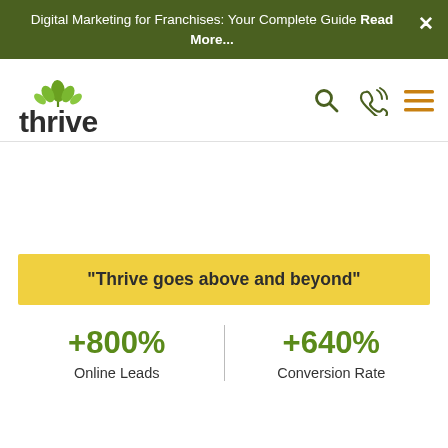Digital Marketing for Franchises: Your Complete Guide Read More...
[Figure (logo): Thrive Internet Marketing Agency logo with green leaf/plant icon above the text 'thrive']
"Thrive goes above and beyond"
+800% Online Leads
+640% Conversion Rate